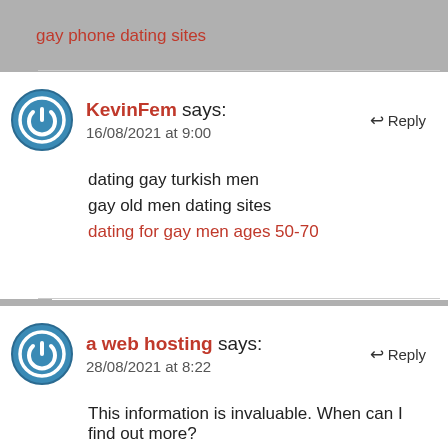gay phone dating sites
KevinFem says:
16/08/2021 at 9:00
dating gay turkish men
gay old men dating sites
dating for gay men ages 50-70
a web hosting says:
28/08/2021 at 8:22
This information is invaluable. When can I find out more?
http://t.co/ says:
30/08/2021 at 9:09